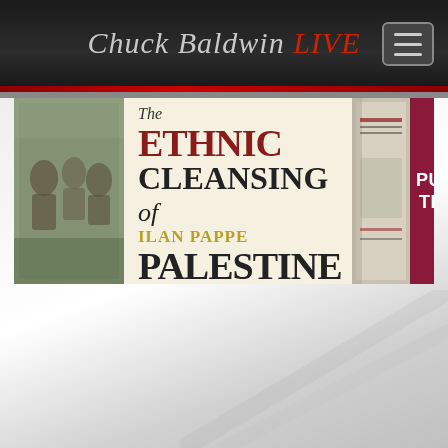Chuck Baldwin LIVE
[Figure (illustration): Book advertisement banner for 'The Ethnic Cleansing of Palestine' by Ilan Pappe, with a photo on the left, title text in center, book spine, and 'PURCHASE THE BOOK' call to action on maroon background on the right.]